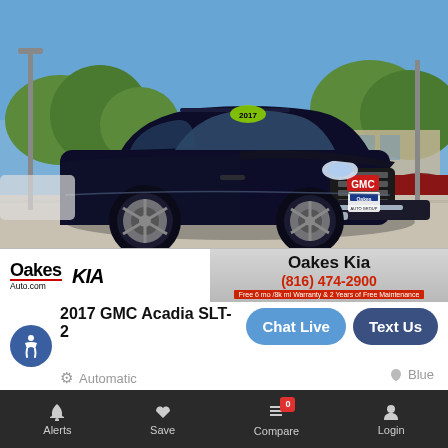[Figure (photo): 2017 GMC Acadia SLT-2 dark navy blue SUV photographed at a dealership lot on a sunny day, three-quarter front view]
Oakes Auto.com  [Kia logo]  Oakes Kia  (816) 474-2900  Free 6 mo /8k mi Warranty & 2 Years of Free Maintenance
2017 GMC Acadia SLT-2
Automatic
Blue
Alerts  Save  Compare 0  Login